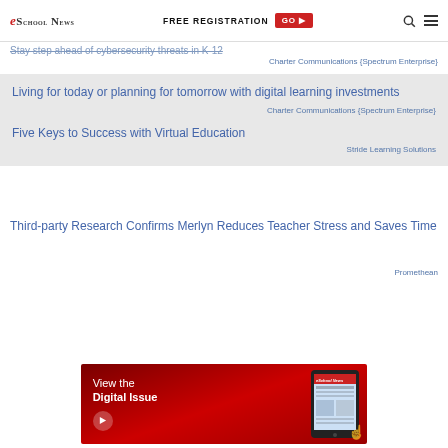eSchool News | FREE REGISTRATION GO ▶
Stay step ahead of cybersecurity threats in K-12
Charter Communications {Spectrum Enterprise}
Living for today or planning for tomorrow with digital learning investments
Charter Communications {Spectrum Enterprise}
Five Keys to Success with Virtual Education
Stride Learning Solutions
Third-party Research Confirms Merlyn Reduces Teacher Stress and Saves Time
Promethean
[Figure (illustration): View the Digital Issue banner with eSchool News tablet image showing 'Teaching digital citizenship across the whole curriculum']